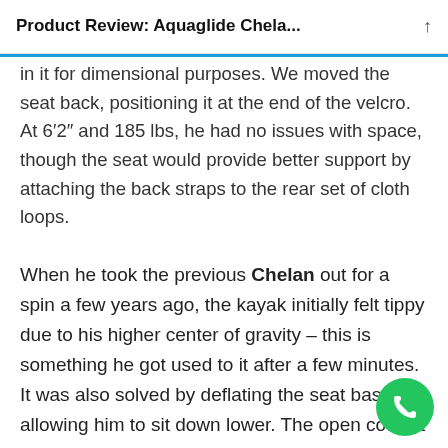Product Review: Aquaglide Chela...
in it for dimensional purposes. We moved the seat back, positioning it at the end of the velcro. At 6'2" and 185 lbs, he had no issues with space, though the seat would provide better support by attaching the back straps to the rear set of cloth loops.
When he took the previous Chelan out for a spin a few years ago, the kayak initially felt tippy due to his higher center of gravity – this is something he got used to it after a few minutes. It was also solved by deflating the seat base, allowing him to sit down lower. The open cockpit allowed him easily get in and out without feeling cramped.